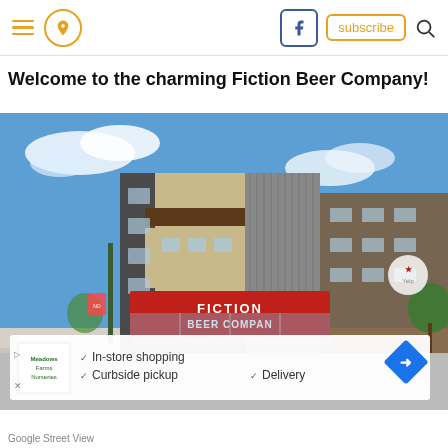Navigation bar with hamburger menu, location pin icon, Facebook button, subscribe button, and search icon
Welcome to the charming Fiction Beer Company!
[Figure (photo): Google Street View photo of Fiction Beer Company building exterior — a modern multi-story mixed-use building with dark grey and tan panels, red awning/sign reading 'FICTION BEER COMPANY', blue sky with clouds, trees and street visible. An advertisement overlay at the bottom shows in-store shopping, curbside pickup, and delivery options.]
Google Street View